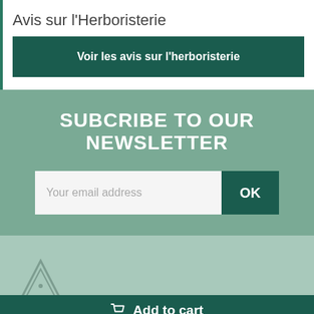Avis sur l'Herboristerie
Voir les avis sur l'herboristerie
SUBCRIBE TO OUR NEWSLETTER
Your email address
OK
[Figure (logo): Herboristerie logo — stylized triangle/tree mark in grey]
Add to cart
19,78 $
Dès 75€ en point retrait    Save on every order